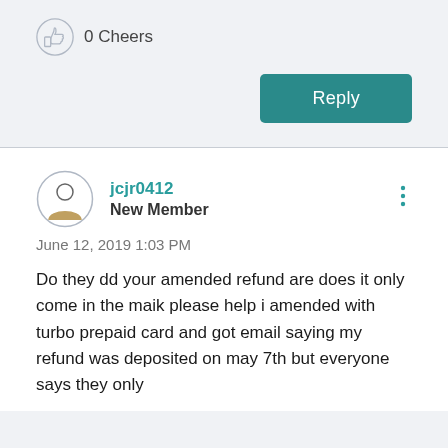[Figure (infographic): Thumbs up icon with '0 Cheers' label]
0 Cheers
Reply
jcjr0412
New Member
June 12, 2019 1:03 PM
Do they dd your amended refund are does it only come in the maik please help i amended with turbo prepaid card and got email saying my refund was deposited on may 7th but everyone says they only